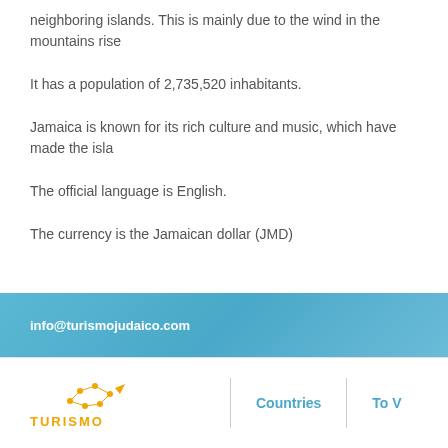neighboring islands. This is mainly due to the wind in the mountains rise
It has a population of 2,735,520 inhabitants.
Jamaica is known for its rich culture and music, which have made the isla
The official language is English.
The currency is the Jamaican dollar (JMD)
info@turismojudaico.com
Countries   To V